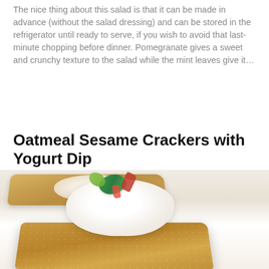The nice thing about this salad is that it can be made in advance (without the salad dressing) and can be stored in the refrigerator until ready to serve, if you wish to avoid that last-minute chopping before dinner. Pomegranate gives a sweet and crunchy texture to the salad while the mint leaves give it…
Oatmeal Sesame Crackers with Yogurt Dip
[Figure (photo): Photo of oatmeal sesame crackers topped with yogurt dip, garnished with mint leaves and red pepper strips on a white plate. A second cracker with dip is visible in the blurred background.]